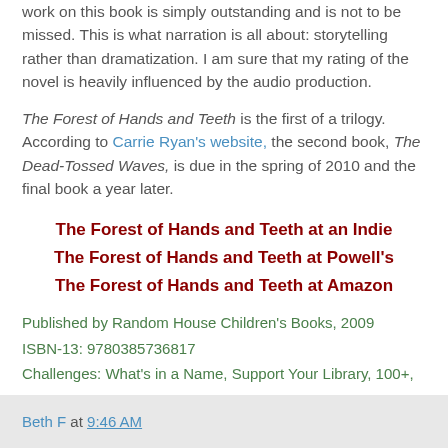work on this book is simply outstanding and is not to be missed. This is what narration is all about: storytelling rather than dramatization. I am sure that my rating of the novel is heavily influenced by the audio production.
The Forest of Hands and Teeth is the first of a trilogy. According to Carrie Ryan's website, the second book, The Dead-Tossed Waves, is due in the spring of 2010 and the final book a year later.
The Forest of Hands and Teeth at an Indie
The Forest of Hands and Teeth at Powell's
The Forest of Hands and Teeth at Amazon
Published by Random House Children's Books, 2009
ISBN-13: 9780385736817
Challenges: What's in a Name, Support Your Library, 100+, 999
YTD: 61
Rating: A
Beth F at 9:46 AM